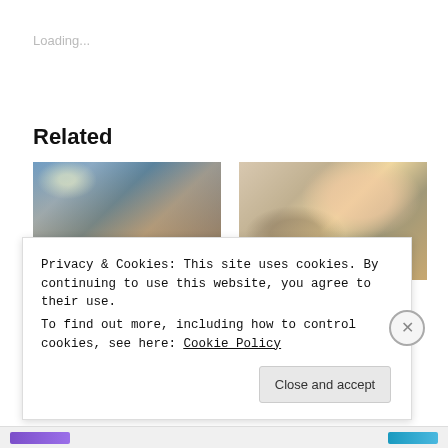Loading...
Related
[Figure (photo): Group photo of people standing together in a room with a projector screen and balloons in the background.]
[Figure (photo): Close-up photo of two people smiling, one wearing a blue hijab.]
BEC First Meet Up; Its a WRAP!
EF #2 – My Wildest Dream: The
Privacy & Cookies: This site uses cookies. By continuing to use this website, you agree to their use.
To find out more, including how to control cookies, see here: Cookie Policy
Close and accept